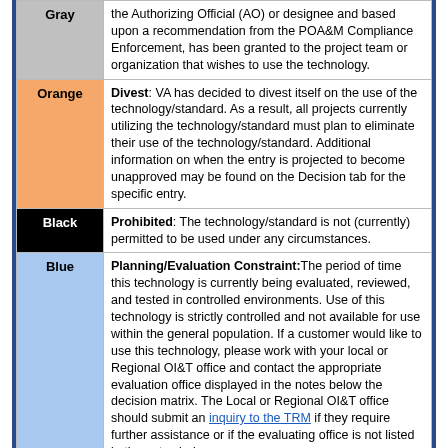| Color | Description |
| --- | --- |
| Gray | the Authorizing Official (AO) or designee and based upon a recommendation from the POA&M Compliance Enforcement, has been granted to the project team or organization that wishes to use the technology. |
| Orange | Divest: VA has decided to divest itself on the use of the technology/standard. As a result, all projects currently utilizing the technology/standard must plan to eliminate their use of the technology/standard. Additional information on when the entry is projected to become unapproved may be found on the Decision tab for the specific entry. |
| Black | Prohibited: The technology/standard is not (currently) permitted to be used under any circumstances. |
| Blue | Planning/Evaluation Constraint: The period of time this technology is currently being evaluated, reviewed, and tested in controlled environments. Use of this technology is strictly controlled and not available for use within the general population. If a customer would like to use this technology, please work with your local or Regional OI&T office and contact the appropriate evaluation office displayed in the notes below the decision matrix. The Local or Regional OI&T office should submit an inquiry to the TRM if they require further assistance or if the evaluating office is not listed in the notes below. |
Release/Version Information:
VA decisions for specific versions may include a '.x' wildcard, which